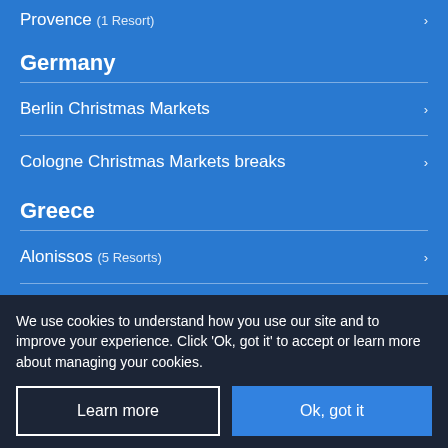Provence (1 Resort)
Germany
Berlin Christmas Markets
Cologne Christmas Markets breaks
Greece
Alonissos (5 Resorts)
Athens
We use cookies to understand how you use our site and to improve your experience. Click 'Ok, got it' to accept or learn more about managing your cookies.